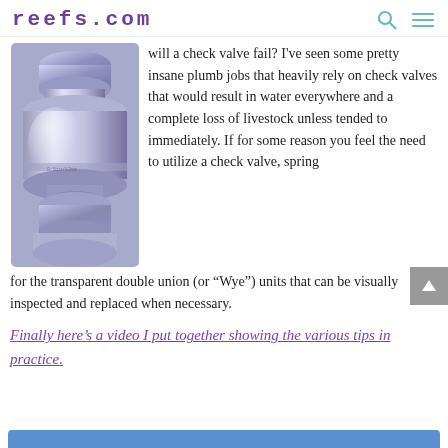reefs.com
[Figure (photo): A transparent blue/purple plastic check valve (double union type), showing the cylindrical body with unions on both ends, photographed against a light background.]
will a check valve fail? I've seen some pretty insane plumb jobs that heavily rely on check valves that would result in water everywhere and a complete loss of livestock unless tended to immediately. If for some reason you feel the need to utilize a check valve, spring for the transparent double union (or “Wye”) units that can be visually inspected and replaced when necessary.
Finally here’s a video I put together showing the various tips in practice.